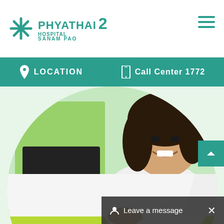[Figure (logo): Phyathai 2 Hospital Sanam Pao logo with teal cross icon]
LOCATION
Call Center 1772
[Figure (photo): Female medical staff in white coat smiling at reception desk, circular crop]
Leave a message